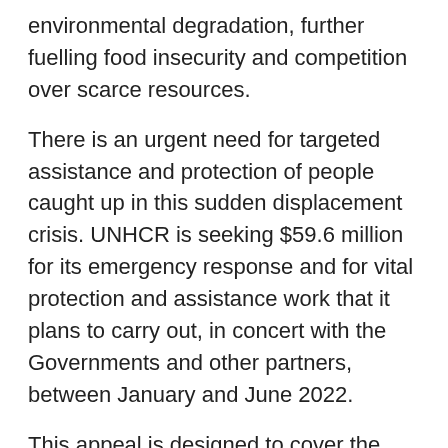environmental degradation, further fuelling food insecurity and competition over scarce resources.
There is an urgent need for targeted assistance and protection of people caught up in this sudden displacement crisis. UNHCR is seeking $59.6 million for its emergency response and for vital protection and assistance work that it plans to carry out, in concert with the Governments and other partners, between January and June 2022.
This appeal is designed to cover the assistance and protection needs of around 100,000 forcibly displaced Cameroonians and host communities, including 60,000 refugees and host communities in Chad and an estimated 40,000 IDPs and affected members of the host population in Cameroon.
The host communities in both countries will benefit from the response, particularly in terms of access to basic public